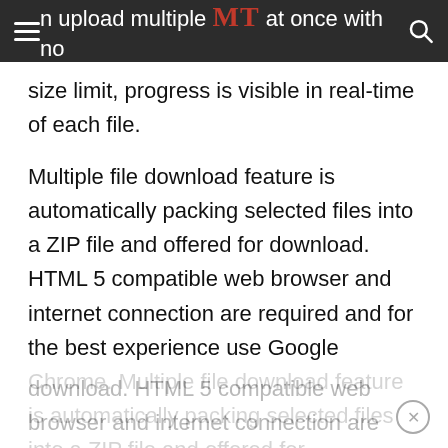n upload multiple MT at once with no
size limit, progress is visible in real-time of each file.
Multiple file download feature is automatically packing selected files into a ZIP file and offered for download. HTML 5 compatible web browser and internet connection are required and for the best experience use Google Chrome. Multiple file download feature is automatically packing selected files into a ZIP file and offered for
download. HTML 5 compatible web browser and internet connection are required and